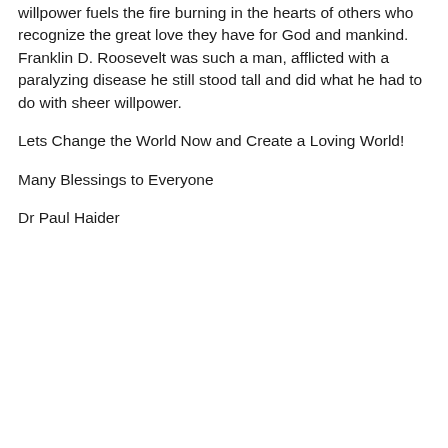willpower fuels the fire burning in the hearts of others who recognize the great love they have for God and mankind. Franklin D. Roosevelt was such a man, afflicted with a paralyzing disease he still stood tall and did what he had to do with sheer willpower.
Lets Change the World Now and Create a Loving World!
Many Blessings to Everyone
Dr Paul Haider